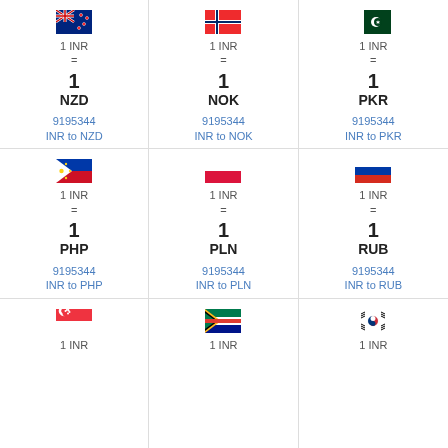[Figure (infographic): Currency conversion grid showing INR to NZD, NOK, PKR, PHP, PLN, RUB, SGD, ZAR, KRW with flags, rates, and links]
1 INR = 1 NZD
9195344 INR to NZD
1 INR = 1 NOK
9195344 INR to NOK
1 INR = 1 PKR
9195344 INR to PKR
1 INR = 1 PHP
9195344 INR to PHP
1 INR = 1 PLN
9195344 INR to PLN
1 INR = 1 RUB
9195344 INR to RUB
1 INR
1 INR
1 INR